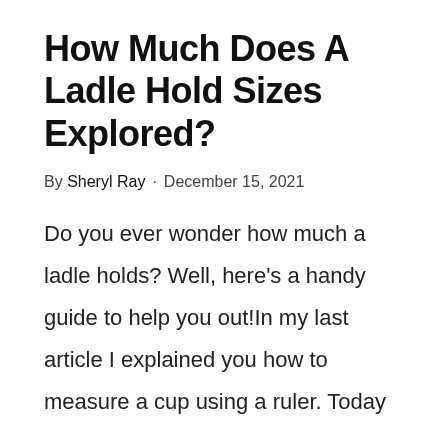How Much Does A Ladle Hold Sizes Explored?
By Sheryl Ray · December 15, 2021
Do you ever wonder how much a ladle holds? Well, here's a handy guide to help you out!In my last article I explained you how to measure a cup using a ruler. Today